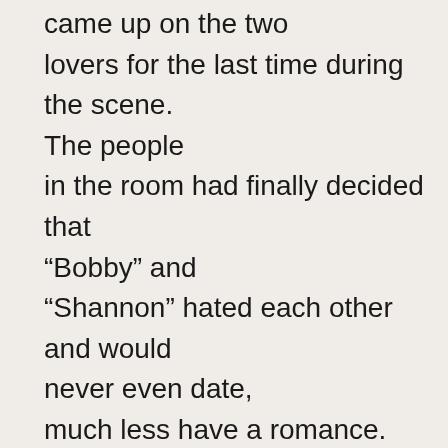came up on the two lovers for the last time during the scene. The people in the room had finally decided that “Bobby” and “Shannon” hated each other and would never even date, much less have a romance.

And, what the audience heard as the lights came up on the wildly gyrating couple under the blanket was